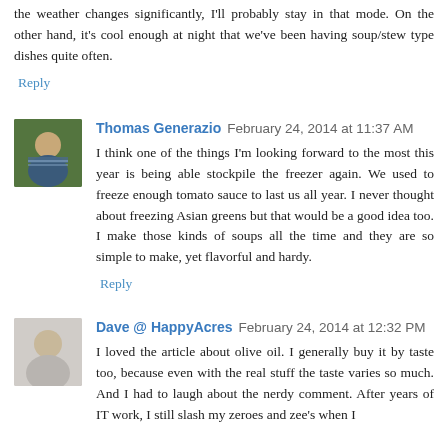the weather changes significantly, I'll probably stay in that mode. On the other hand, it's cool enough at night that we've been having soup/stew type dishes quite often.
Reply
Thomas Generazio  February 24, 2014 at 11:37 AM
I think one of the things I'm looking forward to the most this year is being able stockpile the freezer again. We used to freeze enough tomato sauce to last us all year. I never thought about freezing Asian greens but that would be a good idea too. I make those kinds of soups all the time and they are so simple to make, yet flavorful and hardy.
Reply
Dave @ HappyAcres  February 24, 2014 at 12:32 PM
I loved the article about olive oil. I generally buy it by taste too, because even with the real stuff the taste varies so much. And I had to laugh about the nerdy comment. After years of IT work, I still slash my zeroes and zee's when I